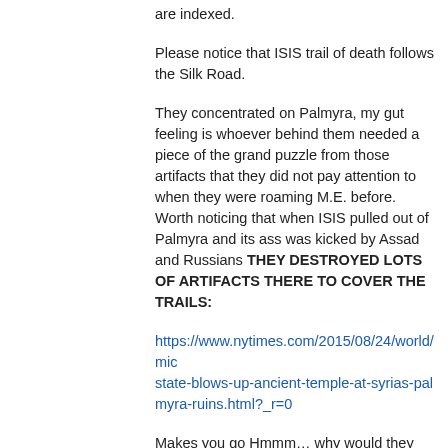are indexed.
Please notice that ISIS trail of death follows the Silk Road.
They concentrated on Palmyra, my gut feeling is whoever behind them needed a piece of the grand puzzle from those artifacts that they did not pay attention to when they were roaming M.E. before. Worth noticing that when ISIS pulled out of Palmyra and its ass was kicked by Assad and Russians THEY DESTROYED LOTS OF ARTIFACTS THERE TO COVER THE TRAILS:
https://www.nytimes.com/2015/08/24/world/middleeast/islamic-state-blows-up-ancient-temple-at-syrias-palmyra-ruins.html?_r=0
Makes you go Hmmm… why would they (or whoever behind them) do that?